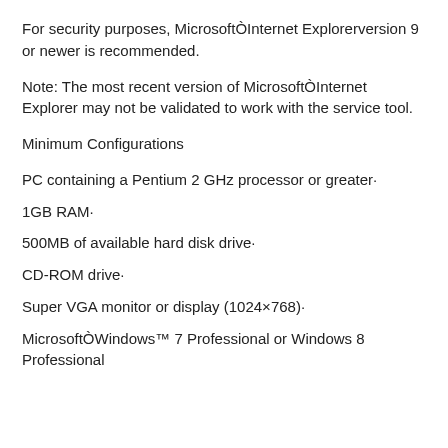For security purposes, MicrosoftÒInternet Explorerversion 9 or newer is recommended.
Note: The most recent version of MicrosoftÒInternet Explorer may not be validated to work with the service tool.
Minimum Configurations
PC containing a Pentium 2 GHz processor or greater·
1GB RAM·
500MB of available hard disk drive·
CD-ROM drive·
Super VGA monitor or display (1024×768)·
MicrosoftÒWindows™ 7 Professional or Windows 8 Professional